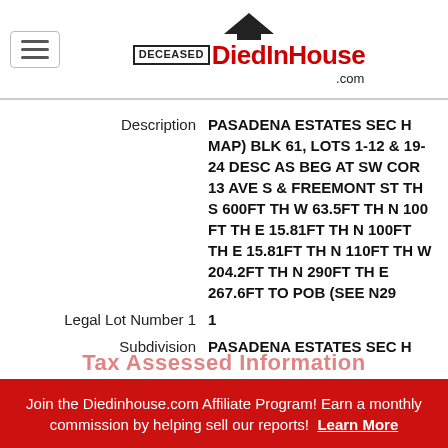DiedInHouse.com logo and navigation
Description: PASADENA ESTATES SEC H MAP) BLK 61, LOTS 1-12 & 19-24 DESC AS BEG AT SW COR 13 AVE S & FREEMONT ST TH S 600FT TH W 63.5FT TH N 100 FT TH E 15.81FT TH N 100FT TH E 15.81FT TH N 110FT TH W 204.2FT TH N 290FT TH E 267.6FT TO POB (SEE N29
Legal Lot Number 1: 1
Subdivision: PASADENA ESTATES SEC H
Join the Diedinhouse.com Affiliate Program! Earn a monthly commission by helping sell our reports! Learn More
Tax Assessed Information